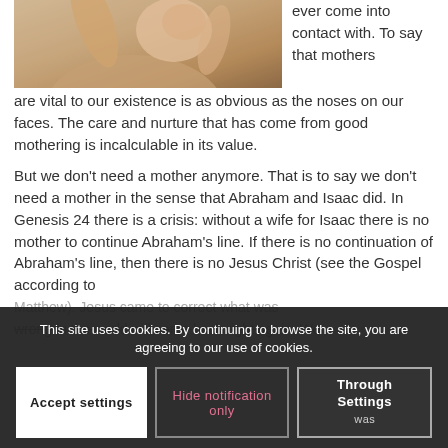[Figure (photo): A mother holding and kissing a baby, warm outdoor tones]
ever come into contact with. To say that mothers are vital to our existence is as obvious as the noses on our faces. The care and nurture that has come from good mothering is incalculable in its value.
But we don't need a mother anymore. That is to say we don't need a mother in the sense that Abraham and Isaac did. In Genesis 24 there is a crisis: without a wife for Isaac there is no mother to continue Abraham's line. If there is no continuation of Abraham's line, then there is no Jesus Christ (see the Gospel according to Matthew). Jesus came to correct what was wrong in the world will come back right again. We Through was
This site uses cookies. By continuing to browse the site, you are agreeing to our use of cookies.
Accept settings
Hide notification only
Settings